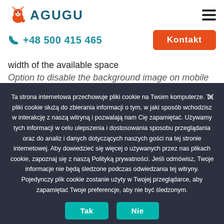[Figure (logo): AGUGU logo with fox icon and teal text, hamburger menu icon on right]
+48 500 415 465
Kontakt
width of the available space
Option to disable the background image on mobile
Ta strona internetowa przechowuje pliki cookie na Twoim komputerze. Te pliki cookie służą do zbierania informacji o tym, w jaki sposób wchodzisz w interakcję z naszą witryną i pozwalają nam Cię zapamiętać. Używamy tych informacji w celu ulepszenia i dostosowania sposobu przeglądania oraz do analiz i danych dotyczących naszych gości na tej stronie internetowej. Aby dowiedzieć się więcej o używanych przez nas plikach cookie, zapoznaj się z naszą Polityką prywatności. Jeśli odmówisz, Twoje informacje nie będą śledzone podczas odwiedzania tej witryny. Pojedynczy plik cookie zostanie użyty w Twojej przeglądarce, aby zapamiętać Twoje preferencje, aby nie być śledzonym.
Tak
Nie